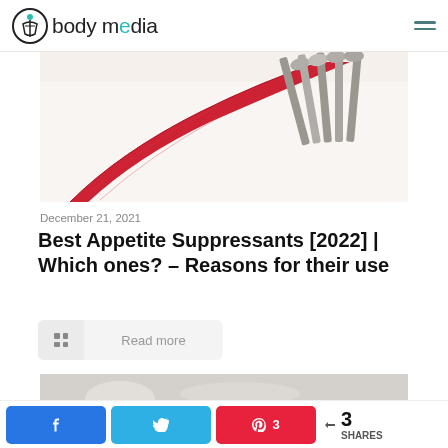body media — navigation header with logo and hamburger menu
[Figure (photo): A red measuring tape / ribbon curled diagonally on a white surface with metallic cutlery (knives/forks) scattered to the right, suggesting diet and appetite control]
December 21, 2021
Best Appetite Suppressants [2022] | Which ones? – Reasons for their use
Read more
[Figure (photo): Partially visible second article image, mostly grey/white, bottom of page]
3 SHARES — Facebook share, Twitter share, Pinterest share (3)